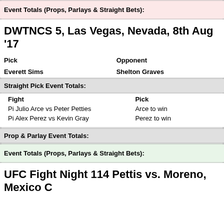Event Totals (Props, Parlays & Straight Bets):
DWTNCS 5, Las Vegas, Nevada, 8th Aug '17
Pick	Opponent
Everett Sims	Shelton Graves
Straight Pick Event Totals:
Fight	Pick
Pi Julio Arce vs Peter Petties	Arce to win
Pi Alex Perez vs Kevin Gray	Perez to win
Prop & Parlay Event Totals:
Event Totals (Props, Parlays & Straight Bets):
UFC Fight Night 114 Pettis vs. Moreno, Mexico C